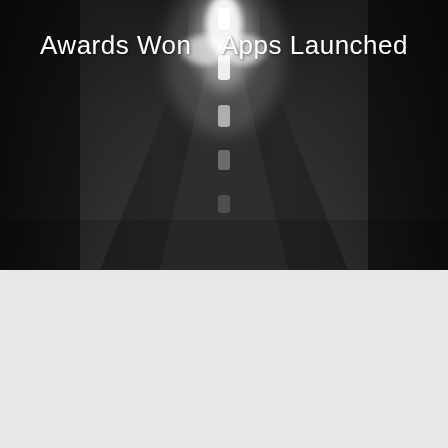[Figure (photo): Black and white photo of a road at night with bright headlights visible in the center, creating a dramatic tunnel-of-light effect on a dark highway]
Awards Won
Apps Launched